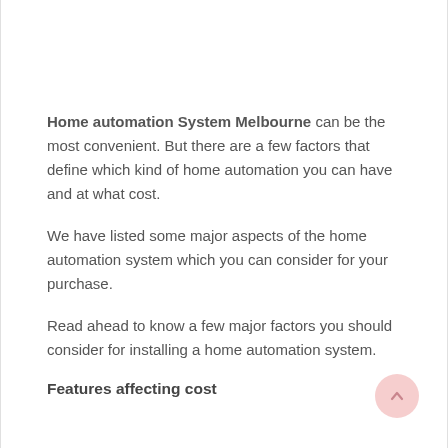Home automation System Melbourne can be the most convenient. But there are a few factors that define which kind of home automation you can have and at what cost.
We have listed some major aspects of the home automation system which you can consider for your purchase.
Read ahead to know a few major factors you should consider for installing a home automation system.
Features affecting cost